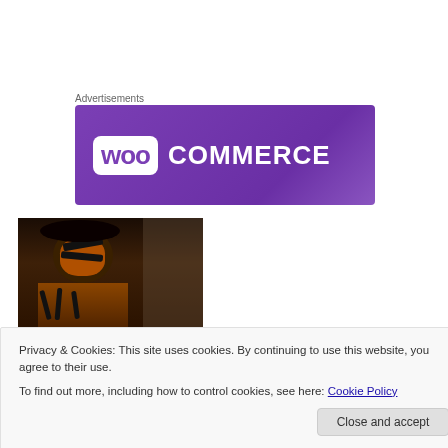Advertisements
[Figure (logo): WooCommerce advertisement banner with purple gradient background and WooCommerce logo]
[Figure (photo): Meme image with text 'HAWAIIAN GIRLS BE LIKE' showing a person in tribal face paint and costume]
Privacy & Cookies: This site uses cookies. By continuing to use this website, you agree to their use.
To find out more, including how to control cookies, see here: Cookie Policy
Close and accept
Some of my favourite TV shows and movies were filmed